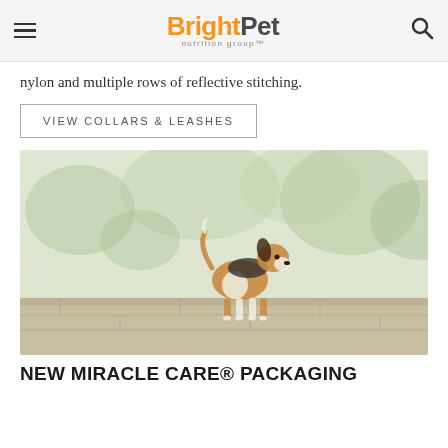BrightPet nutrition group
nylon and multiple rows of reflective stitching.
VIEW COLLARS & LEASHES
[Figure (photo): A beagle dog standing alert on a stone wall surrounded by green foliage in a misty outdoor setting.]
NEW MIRACLE CARE® PACKAGING